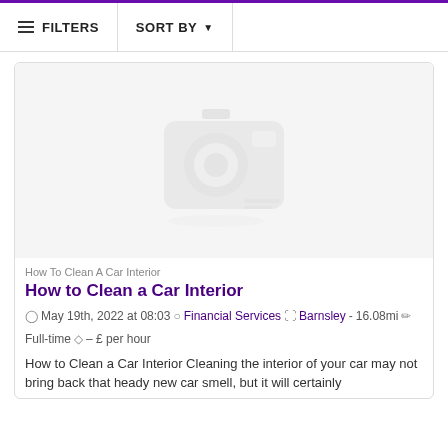FILTERS  SORT BY
[Figure (photo): Placeholder image with a grey camera icon on a light grey background, indicating no image loaded]
How To Clean A Car Interior
How to Clean a Car Interior
May 19th, 2022 at 08:03  Financial Services  Barnsley - 16.08mi  Full-time  – £ per hour
How to Clean a Car Interior Cleaning the interior of your car may not bring back that heady new car smell, but it will certainly